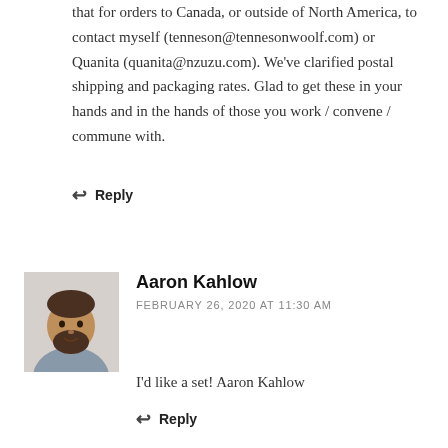that for orders to Canada, or outside of North America, to contact myself (tenneson@tennesonwoolf.com) or Quanita (quanita@nzuzu.com). We've clarified postal shipping and packaging rates. Glad to get these in your hands and in the hands of those you work / convene / commune with.
↩ Reply
Aaron Kahlow
FEBRUARY 26, 2020 AT 11:30 AM
[Figure (photo): Profile photo of Aaron Kahlow, a man with dark beard and short hair]
I'd like a set! Aaron Kahlow
↩ Reply